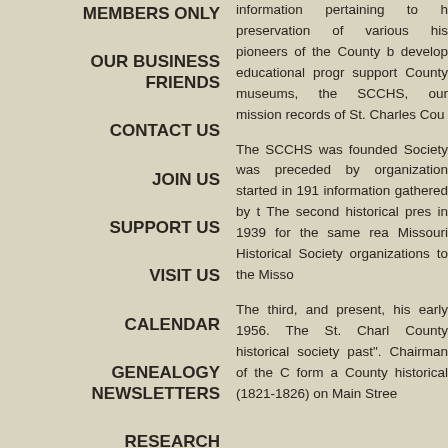MEMBERS ONLY
OUR BUSINESS FRIENDS
CONTACT US
JOIN US
SUPPORT US
VISIT US
CALENDAR
GENEALOGY NEWSLETTERS
RESEARCH
information pertaining to h... preservation of various hi... pioneers of the County b... develop educational prog... support County museums,... the SCCHS, our mission ... records of St. Charles Cou...
The SCCHS was founded... Society was preceded by... organization started in 19... information gathered by t... The second historical pres... in 1939 for the same re... Missouri Historical Society... organizations to the Misso...
The third, and present, his... early 1956. The St. Charl... County historical society ... past". Chairman of the C... form a County historical ... (1821-1826) on Main Stre...